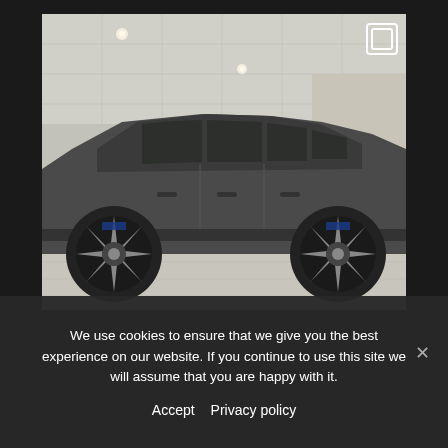[Figure (photo): Side profile photo of a dark grey BMW X3 M or X5 M SUV parked inside a car dealership showroom. The vehicle has large multi-spoke alloy wheels with blue brake calipers. The showroom has white tiled ceiling with recessed lighting and white tiled floor. A gallery/multiple images icon is visible in the top right corner of the photo.]
We use cookies to ensure that we give you the best experience on our website. If you continue to use this site we will assume that you are happy with it.
Accept   Privacy policy